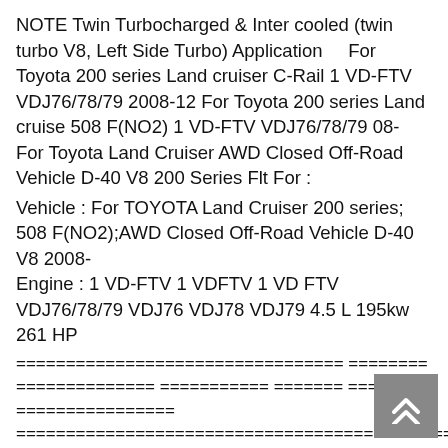NOTE Twin Turbocharged & Inter cooled (twin turbo V8, Left Side Turbo) Application    For Toyota 200 series Land cruiser C-Rail 1 VD-FTV VDJ76/78/79 2008-12 For Toyota 200 series Land cruise 508 F(NO2) 1 VD-FTV VDJ76/78/79 08- For Toyota Land Cruiser AWD Closed Off-Road Vehicle D-40 V8 200 Series Flt For :
Vehicle : For TOYOTA Land Cruiser 200 series; 508 F(NO2);AWD Closed Off-Road Vehicle D-40 V8 2008-
Engine : 1 VD-FTV 1 VDFTV 1 VD FTV VDJ76/78/79 VDJ76 VDJ78 VDJ79 4.5 L 195kw 261 HP
================================= ========
============== =========== ======= =======
================
==================================================
Items Payment
We can accept Escrow,Credit Card,Western Union,Bank transfer (T/T) etc. Please make sure All